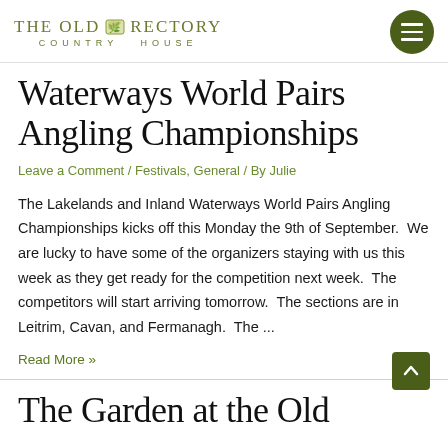THE OLD RECTORY COUNTRY HOUSE
WATERWAYS WORLD PAIRS ANGLING CHAMPIONSHIPS
Leave a Comment / Festivals, General / By Julie
The Lakelands and Inland Waterways World Pairs Angling Championships kicks off this Monday the 9th of September.  We are lucky to have some of the organizers staying with us this week as they get ready for the competition next week.  The competitors will start arriving tomorrow.  The sections are in Leitrim, Cavan, and Fermanagh.  The ...
Read More »
THE GARDEN AT THE OLD